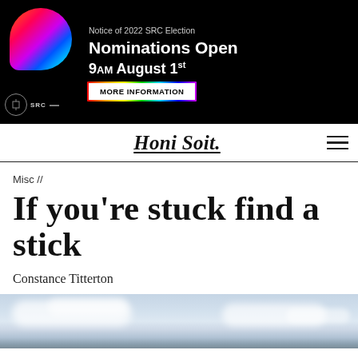[Figure (advertisement): SRC 2022 Election advertisement banner on black background with colorful gradient speech bubble graphic. Text: Notice of 2022 SRC Election, Nominations Open, 9AM August 1st, MORE INFORMATION button, SRC logo at bottom left.]
Honi Soit.
Misc //
If you’re stuck find a stick
Constance Titterton
[Figure (photo): Sky photo showing blue sky with white clouds and mountain silhouettes at the bottom.]